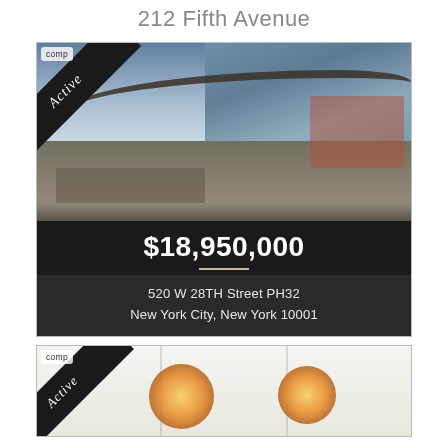212 Fifth Avenue
[Figure (photo): Luxury penthouse terrace at 520 W 28TH Street PH32 with glass facade and outdoor dining area, Active status badge]
$18,950,000
520 W 28TH Street PH32
New York City, New York 10001
[Figure (photo): Interior room with white ceiling and decorative sputnik chandeliers, Active status badge]